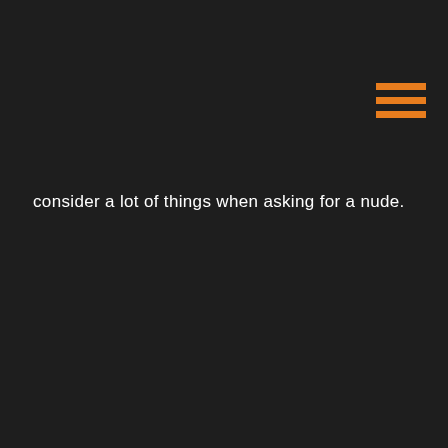[Figure (other): Three horizontal orange bars forming a hamburger/menu icon in the upper right corner]
consider a lot of things when asking for a nude.